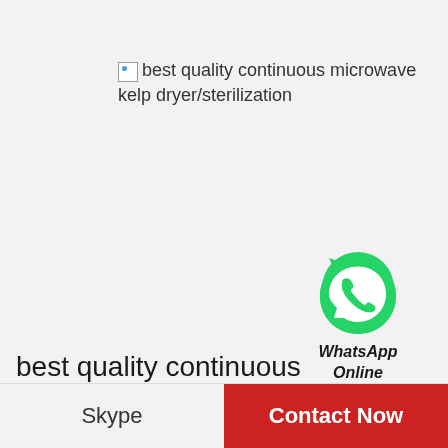[Figure (illustration): Broken image placeholder with alt text: best quality continuous microwave kelp dryer/sterilization]
[Figure (logo): WhatsApp green phone icon circle logo with text WhatsApp Online below]
best quality continuous microwave kelp dryer/sterilization
Skype
Contact Now